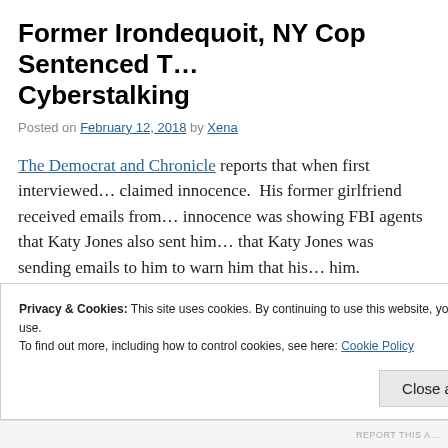Former Irondequoit, NY Cop Sentenced T… Cyberstalking
Posted on February 12, 2018 by Xena
The Democrat and Chronicle reports that when first interviewed… claimed innocence. His former girlfriend received emails from… innocence was showing FBI agents that Katy Jones also sent him… that Katy Jones was sending emails to him to warn him that his… him.
“Please be careful,” read one of the Katy Jones emails to Rosica… ruin you. She thinks you’re with someone else.”
Privacy & Cookies: This site uses cookies. By continuing to use this website, you agree to their use.
To find out more, including how to control cookies, see here: Cookie Policy
Close and accept